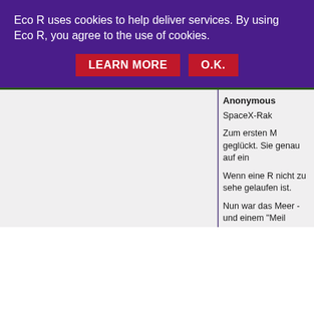Eco R uses cookies to help deliver services. By using Eco R, you agree to the use of cookies.
LEARN MORE   O.K.
Anonymous
SpaceX-Rak
Zum ersten M geglückt. Sie genau auf ein
Wenn eine R nicht zu sehe gelaufen ist.
Nun war das Meer - und einem "Meil